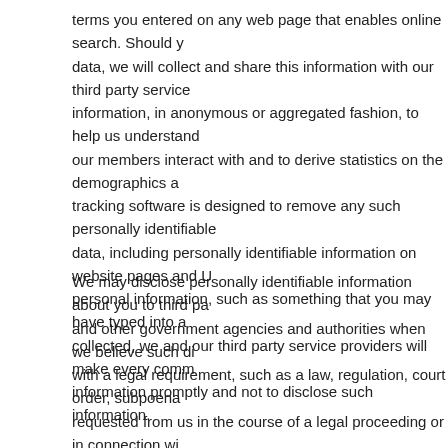terms you entered on any web page that enables online search. Should you enter such data, we will collect and share this information with our third party service providers this information, in anonymous or aggregated fashion, to help us understand how our members interact with and to derive statistics on the demographics and tracking software is designed to remove any such personally identifiable data, including personally identifiable information on website pages and URLs. If personal information, such as something that you may have typed into a search, is collected, we and our third party service providers will make every commercially information promptly and not to disclose such information.
We may disclose personally identifiable information about you to third parties and other government agencies and authorities when we believe such disclosure with a legal requirement, such as a law, regulation, court order, subpoena, or requested from us in the course of a legal proceeding or in connection with disclose personally identifiable information as we believe appropriate to enforce our agreements with customers, to protect our and our partners' rights, property, exchanging information for fraud protection and credit risk reduction."